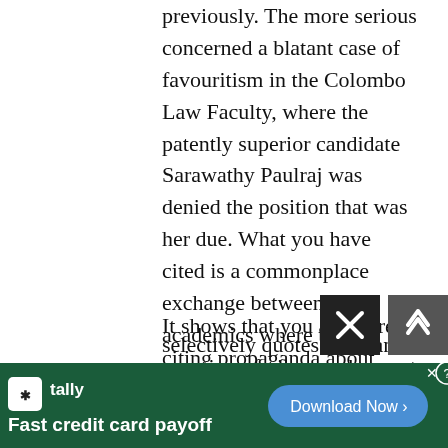previously. The more serious concerned a blatant case of favouritism in the Colombo Law Faculty, where the patently superior candidate Sarawathy Paulraj was denied the position that was her due. What you have cited is a commonplace exchange between academics where the question of vileness does not arise.
It shows that you are merely citing propaganda about Hoole. The piece by ‘Romesh Jeyaratnam’ you cite against Hoole is a fairly civilised scholarly exchange. The writer has gone slightly overboard in saying that Hoole selectively quotes Nilakanto Sastri
[Figure (screenshot): Advertisement banner for Tally app: 'Fast credit card payoff' with Download Now button on green background, with X close button and up-arrow navigation button overlaid]